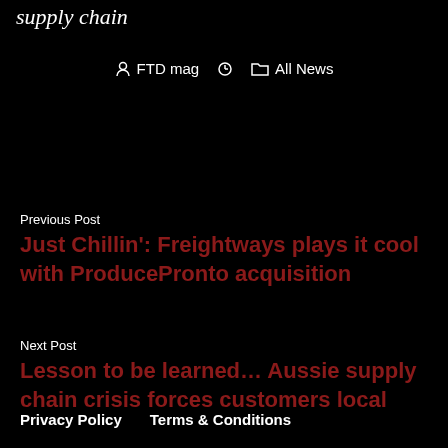supply chain
FTD mag   All News
Previous Post
Just Chillin': Freightways plays it cool with ProducePronto acquisition
Next Post
Lesson to be learned… Aussie supply chain crisis forces customers local
Privacy Policy   Terms & Conditions